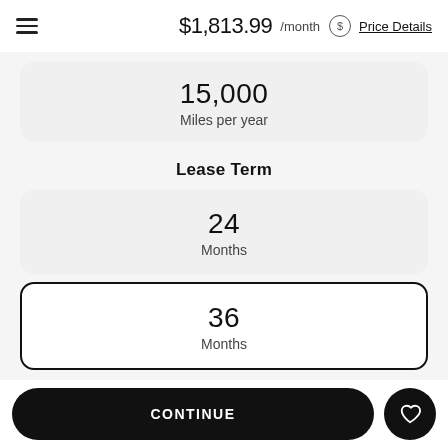$1,813.99 /month  Price Details
15,000
Miles per year
Lease Term
24
Months
36
Months
BMW Financial Services rates based on a credit of Excellent to Elite
CONTINUE